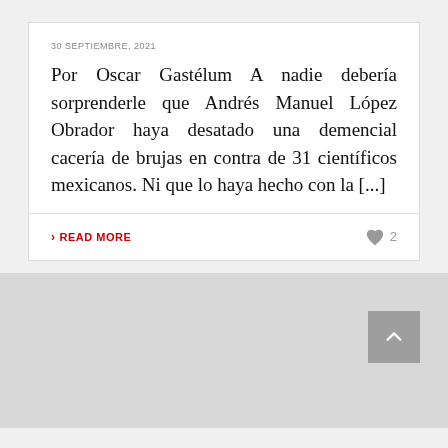30 SEPTIEMBRE, 2021
Por Oscar Gastélum A nadie debería sorprenderle que Andrés Manuel López Obrador haya desatado una demencial cacería de brujas en contra de 31 científicos mexicanos. Ni que lo haya hecho con la [...]
› Read More
[Figure (other): Gray footer area with a scroll-to-top button (chevron up arrow on dark gray square background)]